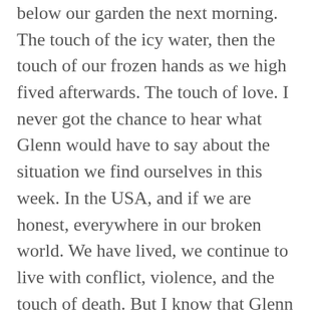below our garden the next morning. The touch of the icy water, then the touch of our frozen hands as we high fived afterwards. The touch of love. I never got the chance to hear what Glenn would have to say about the situation we find ourselves in this week. In the USA, and if we are honest, everywhere in our broken world. We have lived, we continue to live with conflict, violence, and the touch of death. But I know that Glenn would not want me to stop there. Nor would my father.

The touch of love is here to stay. The touch of love enables us to be angry. And so we should be. To grieve. To lament. To search for justice. For all those suffering racism